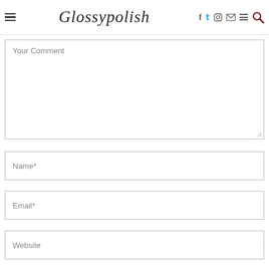Glossypolish
Your Comment
Name*
Email*
Website
Save my name, email, and website in this browser for the next time I comment.